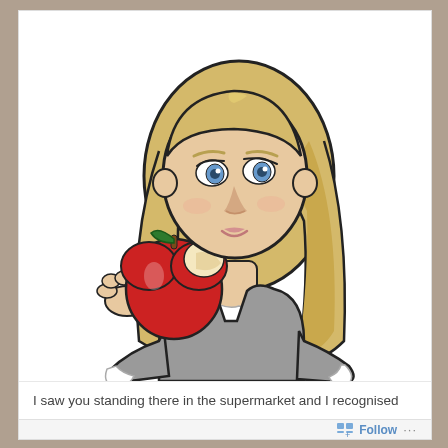[Figure (illustration): Bitmoji-style cartoon illustration of a blonde woman with blue eyes, wearing a grey long-sleeve shirt, holding out a red apple with a bite taken from it. The apple has a green leaf and brown stem. The character has long blonde hair and a neutral/skeptical expression.]
I saw you standing there in the supermarket and I recognised
Follow ...